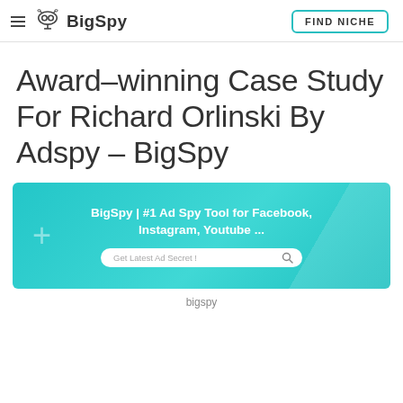BigSpy | FIND NICHE
Award-winning Case Study For Richard Orlinski By Adspy – BigSpy
[Figure (screenshot): BigSpy website banner showing '#1 Ad Spy Tool for Facebook, Instagram, Youtube ...' with a search bar saying 'Get Latest Ad Secret!' on a teal/cyan gradient background with a plus icon on the left.]
bigspy